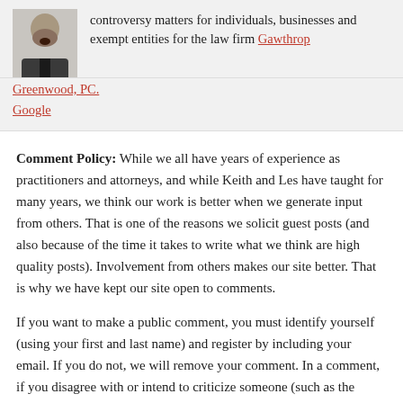controversy matters for individuals, businesses and exempt entities for the law firm Gawthrop Greenwood, PC.
Google
Comment Policy: While we all have years of experience as practitioners and attorneys, and while Keith and Les have taught for many years, we think our work is better when we generate input from others. That is one of the reasons we solicit guest posts (and also because of the time it takes to write what we think are high quality posts). Involvement from others makes our site better. That is why we have kept our site open to comments.
If you want to make a public comment, you must identify yourself (using your first and last name) and register by including your email. If you do not, we will remove your comment. In a comment, if you disagree with or intend to criticize someone (such as the poster, another commenter, a party or counsel in a case), you must do so in a respectful manner. We reserve the right to delete comments. If your comment is obnoxious, mean-spirited or violates our sense of decency we will remove the comment. While you have the right to make a comment, we also have the right to moderate...